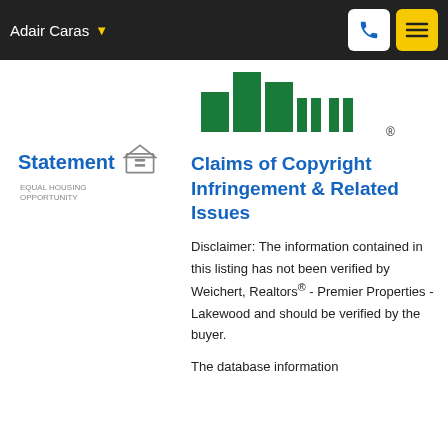Adair Caras
[Figure (logo): Weichert Realtors logo — green building silhouette with registered trademark]
Statement
[Figure (logo): Equal Housing Opportunity logo — house with equal sign]
Claims of Copyright Infringement & Related Issues
Disclaimer: The information contained in this listing has not been verified by Weichert, Realtors® - Premier Properties - Lakewood and should be verified by the buyer.
The database information...